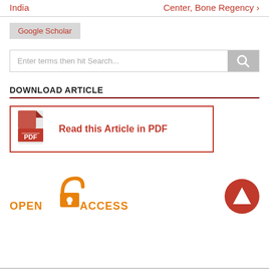India | Center, Bone Regency ›
Google Scholar
Enter terms then hit Search...
DOWNLOAD ARTICLE
Read this Article in PDF
[Figure (logo): Open Access logo with orange lock icon and text OPEN ACCESS]
[Figure (other): Red circle with white triangle/play button pointing up]